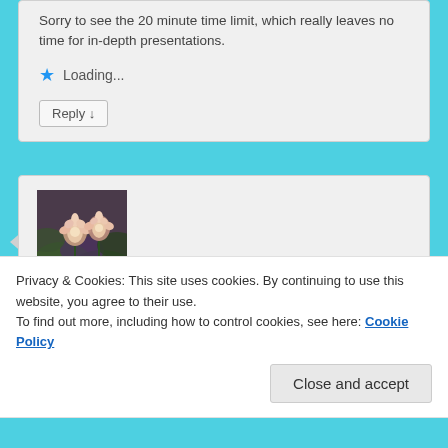Sorry to see the 20 minute time limit, which really leaves no time for in-depth presentations.
Loading...
Reply ↓
[Figure (photo): Avatar photo of Mary Cornell showing pink water lily flowers with lily pads]
Mary Cornell on September 4, 2020 at 2:00 pm said:
Just registered for RootsTech Connect via the RootsTech Robot. The little guy's so cute and
Privacy & Cookies: This site uses cookies. By continuing to use this website, you agree to their use.
To find out more, including how to control cookies, see here: Cookie Policy
Close and accept